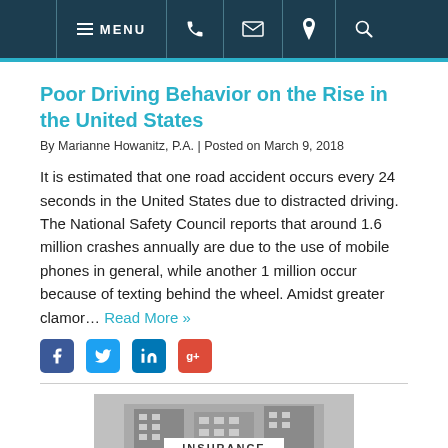MENU (navigation bar with phone, email, location, search icons)
Poor Driving Behavior on the Rise in the United States
By Marianne Howanitz, P.A. | Posted on March 9, 2018
It is estimated that one road accident occurs every 24 seconds in the United States due to distracted driving. The National Safety Council reports that around 1.6 million crashes annually are due to the use of mobile phones in general, while another 1 million occur because of texting behind the wheel. Amidst greater clamor… Read More »
[Figure (infographic): Social media sharing icons: Facebook (blue), Twitter (light blue), LinkedIn (blue), Google+ (red)]
[Figure (photo): Black and white photo of a building with an INSURANCE label overlay at the bottom center]